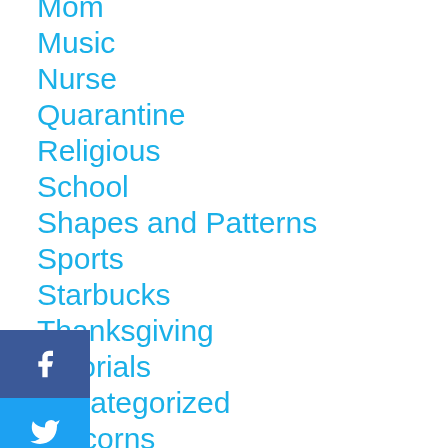Mom
Music
Nurse
Quarantine
Religious
School
Shapes and Patterns
Sports
Starbucks
Thanksgiving
Tutorials
Uncategorized
Unicorns
Valentine's Day
Waser East Design